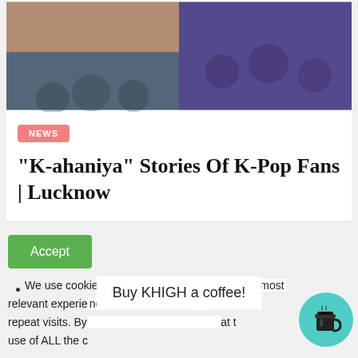[Figure (photo): Collage of K-Pop fans in Lucknow, two-panel image with warm-toned group on the left and blue-toned group on the right]
NEWS
“K-ahaniya” Stories Of K-Pop Fans | Lucknow
Accept
We use cookies on our website to give you the most relevant experie nce ence repeat visits. By at t use of ALL the c
Buy KHIGH a coffee!